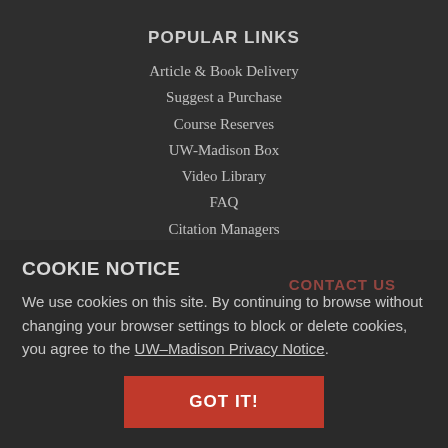POPULAR LINKS
Article & Book Delivery
Suggest a Purchase
Course Reserves
UW-Madison Box
Video Library
FAQ
Citation Managers
Google Scholar
WorldCat
COOKIE NOTICE
We use cookies on this site. By continuing to browse without changing your browser settings to block or delete cookies, you agree to the UW–Madison Privacy Notice.
GOT IT!